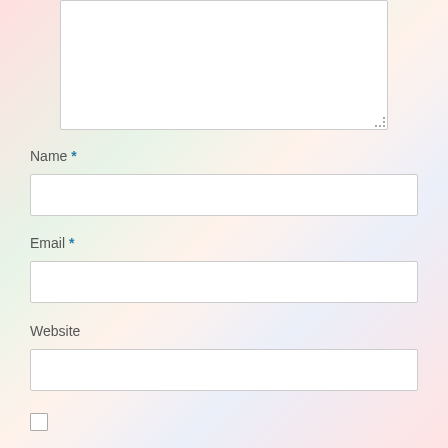[Figure (screenshot): A web comment form showing a large text area at the top (partially visible, cropped), followed by labeled input fields: Name (required, marked with asterisk), Email (required, marked with asterisk), Website, and a checkbox at the bottom. The background has a pastel rainbow gradient.]
Name *
Email *
Website